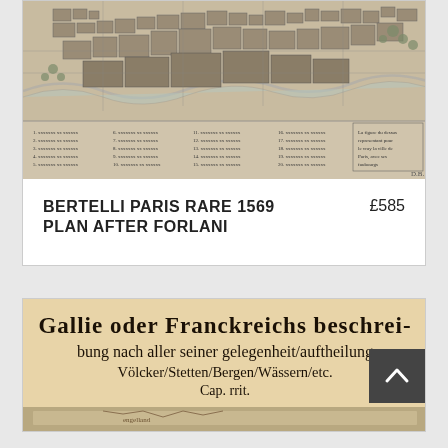[Figure (map): Antique bird's-eye view map of Paris, 1569, engraving style with street layout and legend at bottom]
BERTELLI PARIS RARE 1569 PLAN AFTER FORLANI
£585
[Figure (illustration): Second antique map/book item showing Gothic script text: 'Gallie oder Franckreichs beschrei-bung nach aller seiner gelegenheit/auftheilung Völcker/Stetten/Bergen/Wässern/etc. Cap. rrit.' with colored map below]
Völcker/Stetten/Bergen/Wässern/etc. Cap. rrit.